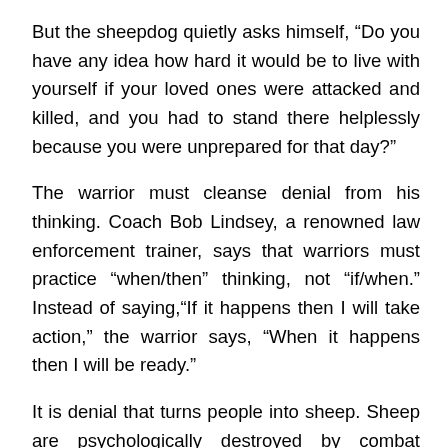But the sheepdog quietly asks himself, “Do you have any idea how hard it would be to live with yourself if your loved ones were attacked and killed, and you had to stand there helplessly because you were unprepared for that day?”
The warrior must cleanse denial from his thinking. Coach Bob Lindsey, a renowned law enforcement trainer, says that warriors must practice “when/then” thinking, not “if/when.” Instead of saying,“If it happens then I will take action,” the warrior says, “When it happens then I will be ready.”
It is denial that turns people into sheep. Sheep are psychologically destroyed by combat because their only defense is denial, which is counterproductive and destructive, resulting in fear, helplessness and horror when the wolf shows up.